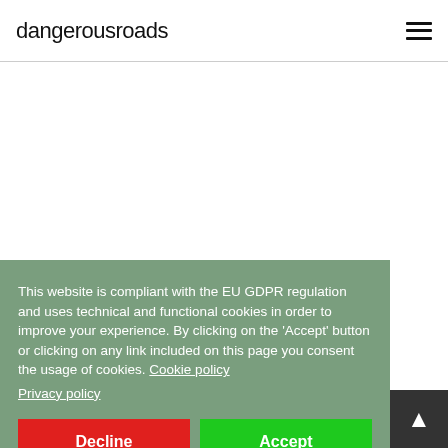dangerousroads
This website is compliant with the EU GDPR regulation and uses technical and functional cookies in order to improve your experience. By clicking on the 'Accept' button or clicking on any link included on this page you consent the usage of cookies. Cookie policy
Privacy policy